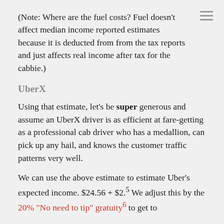(Note: Where are the fuel costs? Fuel doesn't affect median income reported estimates because it is deducted from from the tax reports and just affects real income after tax for the cabbie.)
UberX
Using that estimate, let's be super generous and assume an UberX driver is as efficient at fare-getting as a professional cab driver who has a medallion, can pick up any hail, and knows the customer traffic patterns very well.
We can use the above estimate to estimate Uber's expected income. $24.56 + $2.5 We adjust this by the 20% "No need to tip" gratuity6 to get to $24.87, and ...